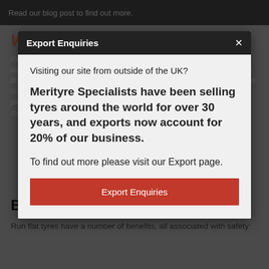Read our blog post to find out more.
Export Enquiries
What are run flat tyres?
Run flat tyres are different to standard issue tyres – they have been specifically reinforced on the side to allow the driver to continue to purchase driving for a limited time period. Most run flat tyre manufacturers recommend only driving on a burst tyre for 50 miles at 50 mph. Run flat tyres give you plenty of time to get to a garage or back home if you are stuck on the motorway.
Visiting our site from outside of the UK?
Merityre Specialists have been selling tyres around the world for over 30 years, and exports now account for 20% of our business.
To find out more please visit our Export page.
Export Enquiries
Benefits of run flat tyres
Run flat tyres have a number of benefits, all associated with safety: